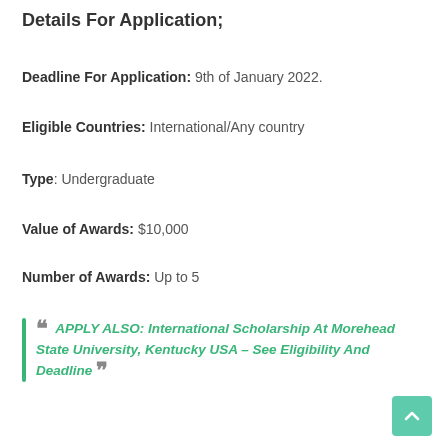Details For Application;
Deadline For Application: 9th of January 2022.
Eligible Countries: International/Any country
Type: Undergraduate
Value of Awards: $10,000
Number of Awards: Up to 5
APPLY ALSO: International Scholarship At Morehead State University, Kentucky USA – See Eligibility And Deadline